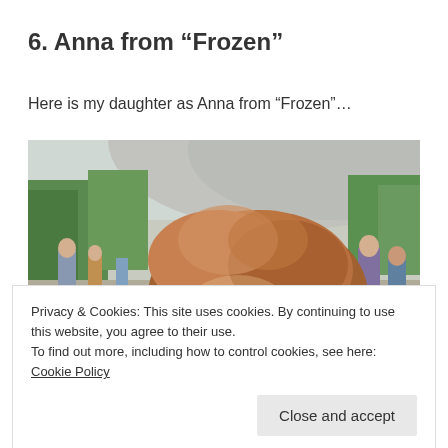6. Anna from “Frozen”
Here is my daughter as Anna from “Frozen”…
[Figure (photo): Outdoor photo of a girl with auburn/red hair in front of a large curved concrete sculpture, trees visible in background, other people in the background]
Privacy & Cookies: This site uses cookies. By continuing to use this website, you agree to their use.
To find out more, including how to control cookies, see here: Cookie Policy
Close and accept